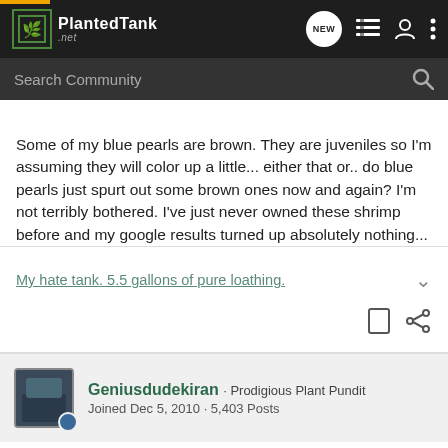PlantedTank.net
Some of my blue pearls are brown. They are juveniles so I'm assuming they will color up a little... either that or.. do blue pearls just spurt out some brown ones now and again? I'm not terribly bothered. I've just never owned these shrimp before and my google results turned up absolutely nothing...
My hate tank. 5.5 gallons of pure loathing.
Geniusdudekiran · Prodigious Plant Pundit
Joined Dec 5, 2010 · 5,403 Posts